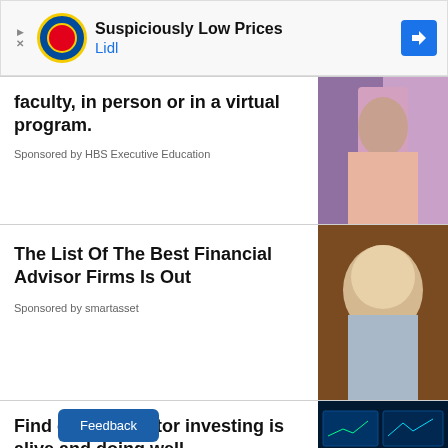[Figure (illustration): Lidl advertisement banner with logo and text 'Suspiciously Low Prices' and arrow icon]
faculty, in person or in a virtual program.
Sponsored by HBS Executive Education
[Figure (photo): Photo of students in a classroom setting]
The List Of The Best Financial Advisor Firms Is Out
Sponsored by smartasset
[Figure (photo): Portrait of an older blonde woman with glasses smiling, against brown background]
Find out why factor investing is alive and doing well
Sponsored by Qontigo
[Figure (photo): Woman in front of multiple screens showing financial data and charts]
Feedback